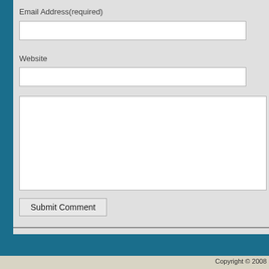Email Address(required)
Website
Submit Comment
Copyright © 2008